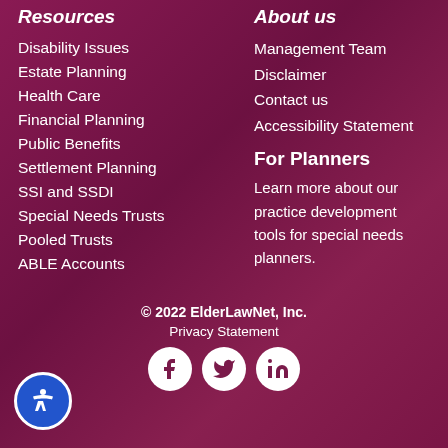Resources
Disability Issues
Estate Planning
Health Care
Financial Planning
Public Benefits
Settlement Planning
SSI and SSDI
Special Needs Trusts
Pooled Trusts
ABLE Accounts
About us
Management Team
Disclaimer
Contact us
Accessibility Statement
For Planners
Learn more about our practice development tools for special needs planners.
© 2022 ElderLawNet, Inc.
Privacy Statement